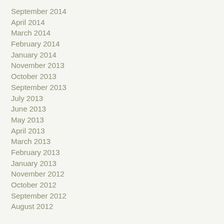September 2014
April 2014
March 2014
February 2014
January 2014
November 2013
October 2013
September 2013
July 2013
June 2013
May 2013
April 2013
March 2013
February 2013
January 2013
November 2012
October 2012
September 2012
August 2012